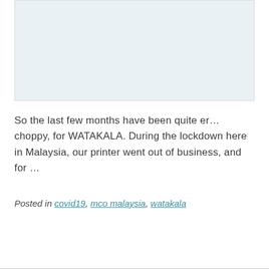[Figure (other): Light blue/grey rectangular placeholder image area]
So the last few months have been quite er… choppy, for WATAKALA. During the lockdown here in Malaysia, our printer went out of business, and for …
Posted in covid19, mco malaysia, watakala
READ MORE